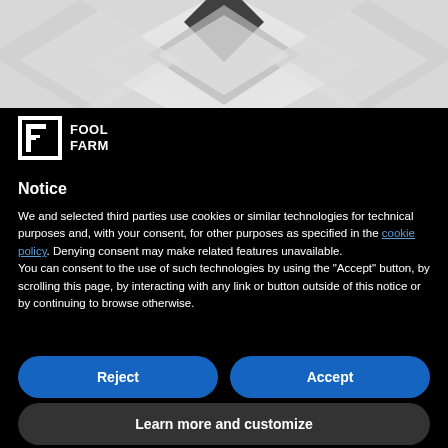[Figure (illustration): Top banner with geometric diamond/rhombus shapes in grey and white tones on a light grey background]
[Figure (logo): Fool Farm logo: white square icon with F-shape cutout and white text reading FOOL FARM]
Notice
We and selected third parties use cookies or similar technologies for technical purposes and, with your consent, for other purposes as specified in the cookie policy. Denying consent may make related features unavailable.
You can consent to the use of such technologies by using the "Accept" button, by scrolling this page, by interacting with any link or button outside of this notice or by continuing to browse otherwise.
Reject
Accept
Learn more and customize